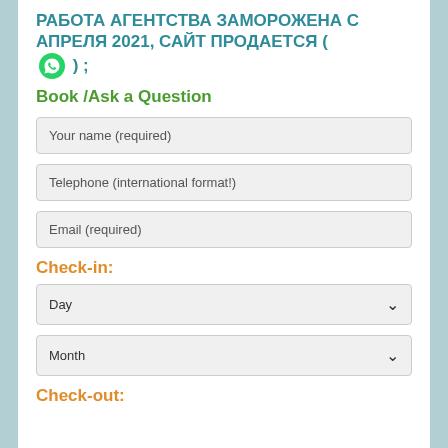РАБОТА АГЕНТСТВА ЗАМОРОЖЕНА С АПРЕЛЯ 2021, САЙТ ПРОДАЕТСЯ ( [whatsapp] ) ;
Book /Ask a Question
Your name (required)
Telephone (international format!)
Email (required)
Check-in:
Day
Month
Check-out: